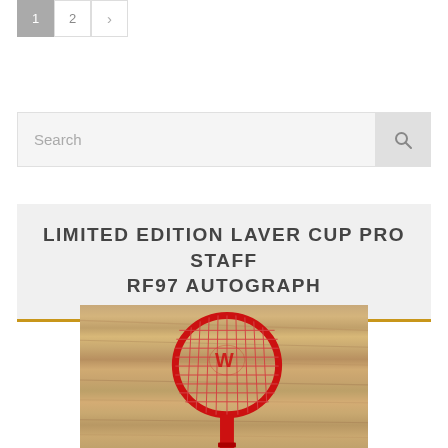1  2  >
Search
LIMITED EDITION LAVER CUP PRO STAFF RF97 AUTOGRAPH
[Figure (photo): Red Wilson tennis racket (Pro Staff RF97) displayed on a wooden surface background]